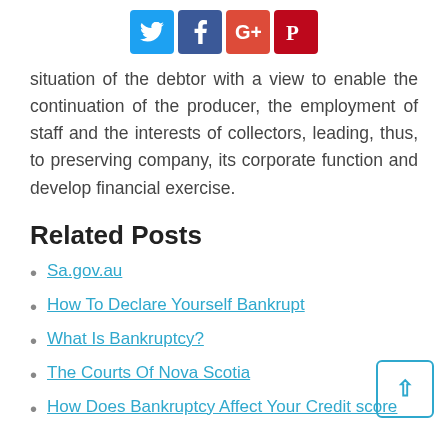[Figure (infographic): Social sharing icons for Twitter, Facebook, Google+, and Pinterest]
situation of the debtor with a view to enable the continuation of the producer, the employment of staff and the interests of collectors, leading, thus, to preserving company, its corporate function and develop financial exercise.
Related Posts
Sa.gov.au
How To Declare Yourself Bankrupt
What Is Bankruptcy?
The Courts Of Nova Scotia
How Does Bankruptcy Affect Your Credit score